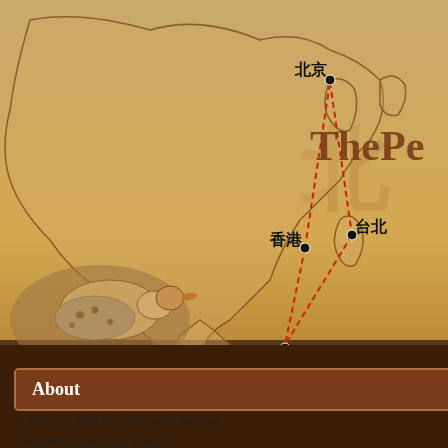[Figure (map): A stylized map of East Asia with a warm golden/tan background showing China, Taiwan, Hong Kong, Singapore (新加坡), Beijing (北京), Taipei (台北), Hong Kong (香港) marked with black dots connected by red dashed lines in a triangular route. A bird illustration appears in the lower left area of the map. The text 'The Pe...' appears in a decorative brownish font on the right side of the map area.]
About
A peculiar hybrid of personal journal, dilettantish punditry, pseudo-philosophy and much more, from an Accidental Expat who has made his
TAGS You're viewing
Norwegian sa
The Chinese governme... Prize to NED puppet a... which they are expres...